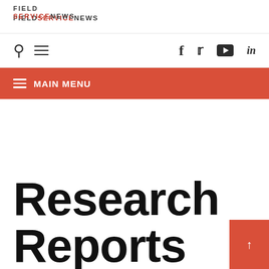FIELD SERVICE NEWS
[Figure (screenshot): Navigation bar with search icon, hamburger menu icon on left, and social media icons (Facebook, Twitter, YouTube, LinkedIn) on right]
≡ MAIN MENU
Research Reports